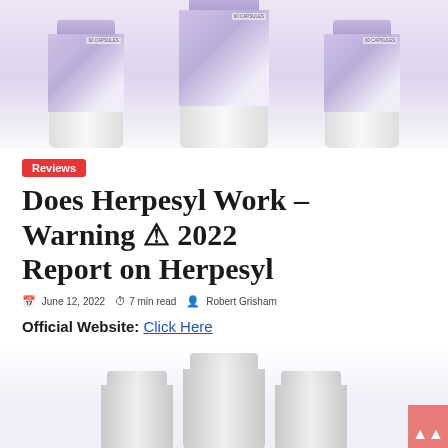[Figure (photo): Three purple supplement bottles (Herpesyl) with caps and labels showing '60 CAPSULES', photographed from above cropped at the top of the page]
Reviews
Does Herpesyl Work – Warning ⚠ 2022 Report on Herpesyl
June 12, 2022  ⏱7 min read  👤 Robert Grisham
Official Website: Click Here
[Figure (photo): Three white supplement bottles photographed from the side, partially visible at the bottom of the page, with a pink scroll-to-top button in the lower right corner]